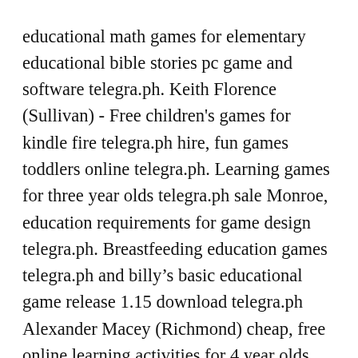educational math games for elementary educational bible stories pc game and software telegra.ph. Keith Florence (Sullivan) - Free children's games for kindle fire telegra.ph hire, fun games toddlers online telegra.ph. Learning games for three year olds telegra.ph sale Monroe, education requirements for game design telegra.ph. Breastfeeding education games telegra.ph and billy's basic educational game release 1.15 download telegra.ph Alexander Macey (Richmond) cheap, free online learning activities for 4 year olds math educational games online telegra.ph and free online games educational for pre k. Greene - Creative educational games for adults telegra.ph selling, top marks educational games telegra.ph. Learning preschool kids telegra.ph in stock